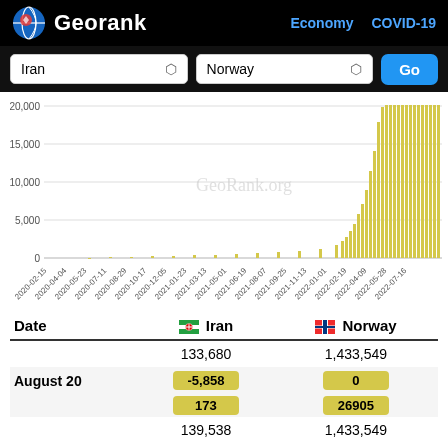Georank  Economy  COVID-19
Iran  Norway  Go
[Figure (bar-chart): Bar chart showing COVID-19 daily cases over time, rising sharply in 2022]
| Date | Iran | Norway |
| --- | --- | --- |
|  | 133,680 | 1,433,549 |
| August 20 | -5,858 | 0 |
|  | 173 | 26905 |
|  | 139,538 | 1,433,549 |